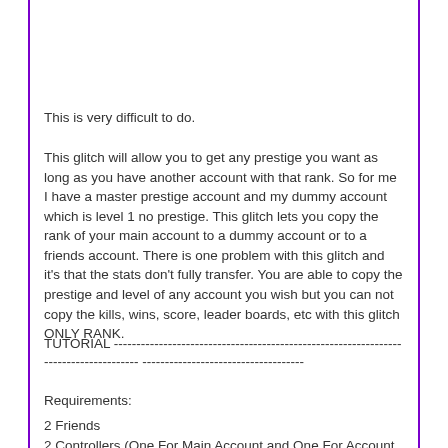This is very difficult to do.
This glitch will allow you to get any prestige you want as long as you have another account with that rank. So for me I have a master prestige account and my dummy account which is level 1 no prestige. This glitch lets you copy the rank of your main account to a dummy account or to a friends account. There is one problem with this glitch and it's that the stats don't fully transfer. You are able to copy the prestige and level of any account you wish but you can not copy the kills, wins, score, leader boards, etc with this glitch ONLY RANK.
TUTORIAL ------------------------------------------------------------------------------------- ------------------------------------
Requirements:
2 Friends
2 Controllers (One For Main Account and One For Account You